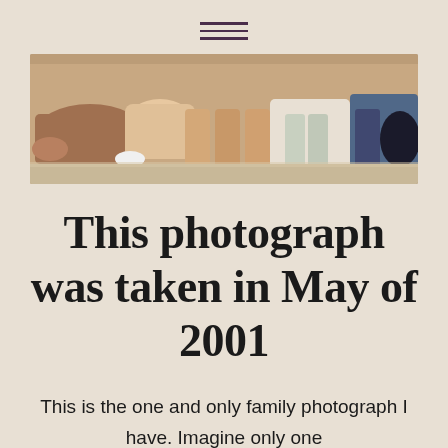[Figure (other): Hamburger menu icon with three horizontal dark purple lines]
[Figure (photo): A wide horizontal family photograph showing multiple people lying or resting on a light surface, cropped to show mainly torsos and legs]
This photograph was taken in May of 2001
This is the one and only family photograph I have. Imagine only one